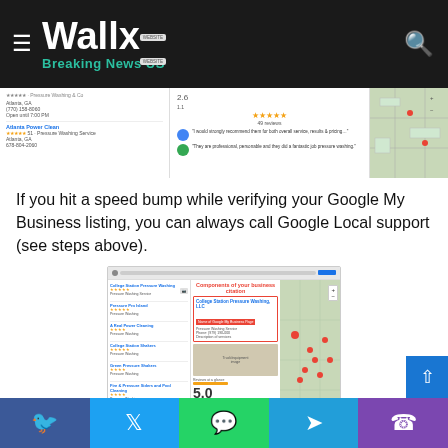Wallx Breaking News US
[Figure (screenshot): Screenshot of Google My Business search results showing Atlanta pressure washing companies with reviews and a map]
If you hit a speed bump while verifying your Google My Business listing, you can always call Google Local support (see steps above).
[Figure (screenshot): Screenshot showing Components of your business citation on Google My Business with a 5.0 rating and map]
Social sharing buttons: Facebook, Twitter, WhatsApp, Telegram, Phone